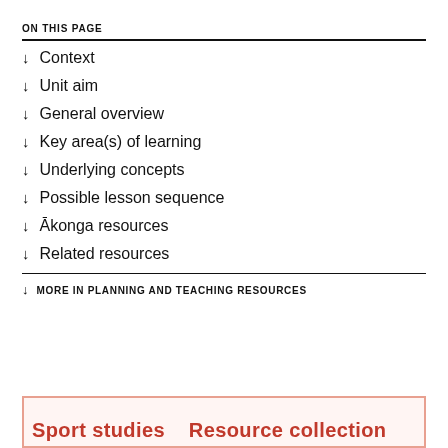ON THIS PAGE
↓  Context
↓  Unit aim
↓  General overview
↓  Key area(s) of learning
↓  Underlying concepts
↓  Possible lesson sequence
↓  Ākonga resources
↓  Related resources
↓  MORE IN PLANNING AND TEACHING RESOURCES
Sport studies   Resource collection